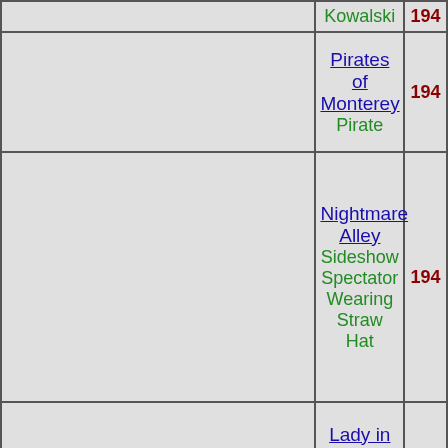| Image | Film / Role | Year |
| --- | --- | --- |
|  | Kowalski | 194- |
|  | Pirates of Monterey
Pirate | 194- |
|  | Nightmare Alley
Sideshow Spectator Wearing Straw Hat | 194- |
|  | Lady in the Lake
Policeman | 194- |
| [photo] | Brasher Doubloon
Policeman | 194- |